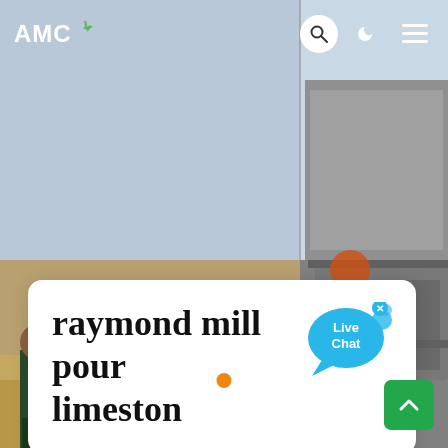AMC
[Figure (photo): Website screenshot showing a construction/mining site. Left section shows workers standing near industrial milling equipment on sandy ground. Right section shows industrial grey machinery. Background has a light blue/grey sky. Header shows AMC logo with search, dark mode, and menu icons.]
raymond mill pour limeston
[Figure (infographic): Live Chat speech bubble in blue with 'Live Chat' text and a small 'x' close button]